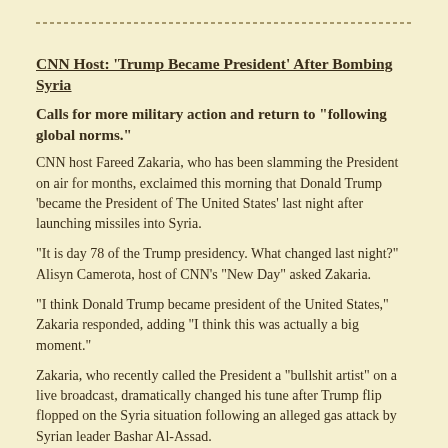CNN Host: ‘Trump Became President’ After Bombing Syria
Calls for more military action and return to “following global norms.”
CNN host Fareed Zakaria, who has been slamming the President on air for months, exclaimed this morning that Donald Trump ‘became the President of The United States’ last night after launching missiles into Syria.
“It is day 78 of the Trump presidency. What changed last night?” Alisyn Camerota, host of CNN’s “New Day” asked Zakaria.
“I think Donald Trump became president of the United States,” Zakaria responded, adding “I think this was actually a big moment.”
Zakaria, who recently called the President a “bullshit artist” on a live broadcast, dramatically changed his tune after Trump flip flopped on the Syria situation following an alleged gas attack by Syrian leader Bashar Al-Assad.